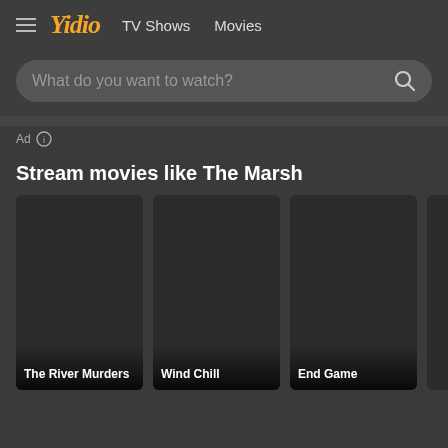Yidio  TV Shows  Movies
What do you want to watch?
Ad
Stream movies like The Marsh
[Figure (screenshot): Movie card for The River Murders - dark placeholder image]
The River Murders
[Figure (screenshot): Movie card for Wind Chill - dark placeholder image]
Wind Chill
[Figure (screenshot): Movie card for End Game - dark placeholder image]
End Game
[Figure (screenshot): Partially visible movie card - fourth item cut off at right edge]